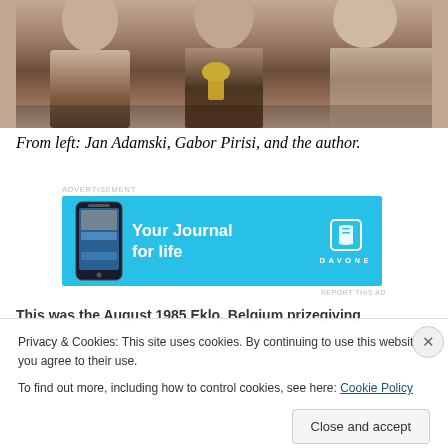[Figure (photo): Sepia-toned photograph (cropped, top portion visible) showing three people standing together, one holding a trophy or award. From left: Jan Adamski, Gabor Pirisi, and the author.]
From left: Jan Adamski, Gabor Pirisi, and the author.
[Figure (screenshot): Advertisement banner for Day One app. Blue background with phone image on left, text 'Your Journal for life' in center, and Day One book logo and wordmark on right.]
This was the August 1985 Eklo, Belgium prizegiving
Privacy & Cookies: This site uses cookies. By continuing to use this website, you agree to their use.
To find out more, including how to control cookies, see here: Cookie Policy